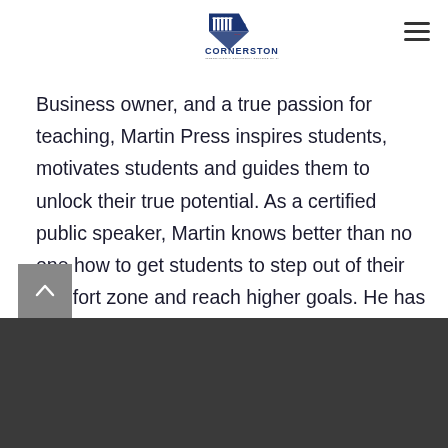[Figure (logo): Cornerstone International Community College of Canada logo with diamond shape containing columns and '42' text]
Business owner, and a true passion for teaching, Martin Press inspires students, motivates students and guides them to unlock their true potential. As a certified public speaker, Martin knows better than no one how to get students to step out of their comfort zone and reach higher goals. He has the perfect combination of executive experience as well as a prestigious academic background.
[Figure (other): Dark grey footer bar at bottom of page with scroll-to-top button]